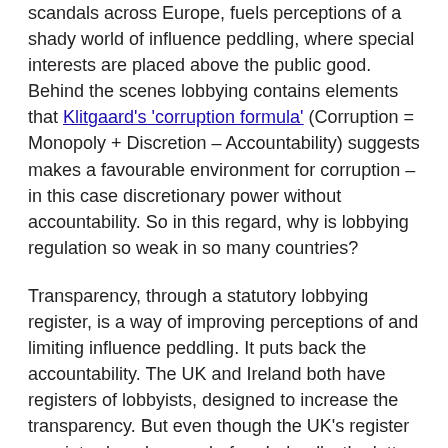scandals across Europe, fuels perceptions of a shady world of influence peddling, where special interests are placed above the public good. Behind the scenes lobbying contains elements that Klitgaard's 'corruption formula' (Corruption = Monopoly + Discretion – Accountability) suggests makes a favourable environment for corruption – in this case discretionary power without accountability. So in this regard, why is lobbying regulation so weak in so many countries?
Transparency, through a statutory lobbying register, is a way of improving perceptions of and limiting influence peddling. It puts back the accountability. The UK and Ireland both have registers of lobbyists, designed to increase the transparency. But even though the UK's register was introduced a year before Ireland's, the latter has received ten times more returns than the UK's, and the UK's register is strongly criticised by transparency campaigners. What does that tell us about good regulation in this area?
Ireland's Regulation of Lobbying Act (2015) meant that from September 2015, those who lobby designated public officials (DPOs) are required to register and report their lobbying